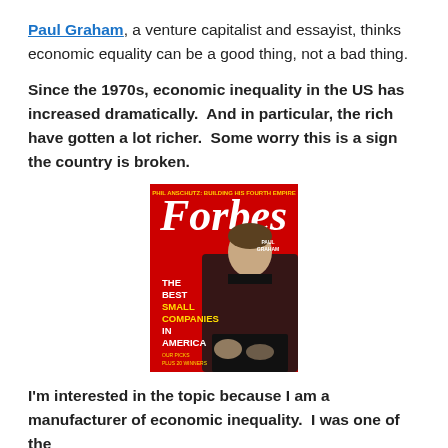Paul Graham, a venture capitalist and essayist, thinks economic equality can be a good thing, not a bad thing.
Since the 1970s, economic inequality in the US has increased dramatically.  And in particular, the rich have gotten a lot richer.  Some worry this is a sign the country is broken.
[Figure (photo): Forbes magazine cover featuring Paul Graham. Red background with white Forbes logo. Text reads: THE BEST SMALL COMPANIES IN AMERICA. Paul Graham is pictured wearing a dark jacket.]
I'm interested in the topic because I am a manufacturer of economic inequality.  I was one of the founders of a company called Y Combinator that is known for